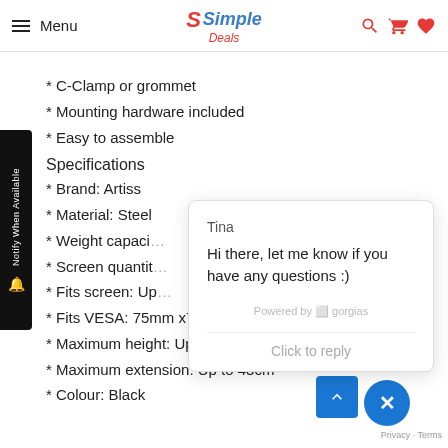Menu | Simple Deals
* C-Clamp or grommet
* Mounting hardware included
* Easy to assemble
Specifications
* Brand: Artiss
* Material: Steel
* Weight capaci...
* Screen quantit...
* Fits screen: Up...
* Fits VESA: 75mm x75mm and 100mm x 100mm
* Maximum height: Up to 45cm
* Maximum extension: Up to 43cm
* Colour: Black
[Figure (screenshot): Chat popup from Tina: 'Hi there, let me know if you have any questions :)' with 'Powered by gorgias' and 'Click to reply']